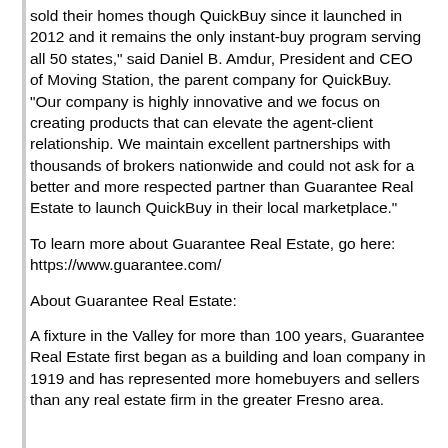sold their homes though QuickBuy since it launched in 2012 and it remains the only instant-buy program serving all 50 states," said Daniel B. Amdur, President and CEO of Moving Station, the parent company for QuickBuy. "Our company is highly innovative and we focus on creating products that can elevate the agent-client relationship. We maintain excellent partnerships with thousands of brokers nationwide and could not ask for a better and more respected partner than Guarantee Real Estate to launch QuickBuy in their local marketplace."
To learn more about Guarantee Real Estate, go here: https://www.guarantee.com/
About Guarantee Real Estate:
A fixture in the Valley for more than 100 years, Guarantee Real Estate first began as a building and loan company in 1919 and has represented more homebuyers and sellers than any real estate firm in the greater Fresno area.